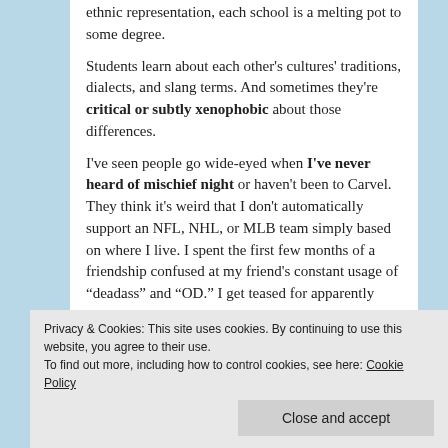ethnic representation, each school is a melting pot to some degree.
Students learn about each other's cultures' traditions, dialects, and slang terms. And sometimes they're critical or subtly xenophobic about those differences.
I've seen people go wide-eyed when I've never heard of mischief night or haven't been to Carvel. They think it's weird that I don't automatically support an NFL, NHL, or MLB team simply based on where I live. I spent the first few months of a friendship confused at my friend's constant usage of “deadass” and “OD.” I get teased for apparently saying “Halloween” wrong.
Privacy & Cookies: This site uses cookies. By continuing to use this website, you agree to their use. To find out more, including how to control cookies, see here: Cookie Policy
Close and accept